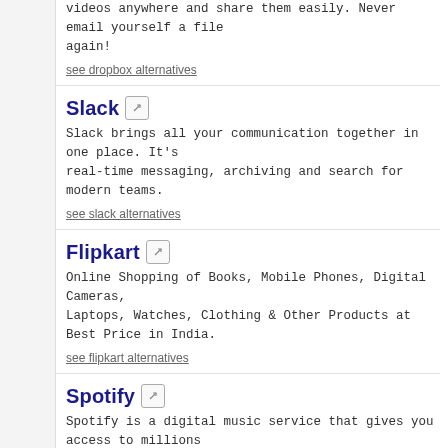videos anywhere and share them easily. Never email yourself a file again!
see dropbox alternatives
Slack
Slack brings all your communication together in one place. It's real-time messaging, archiving and search for modern teams.
see slack alternatives
Flipkart
Online Shopping of Books, Mobile Phones, Digital Cameras, Laptops, Watches, Clothing & Other Products at Best Price in India.
see flipkart alternatives
Spotify
Spotify is a digital music service that gives you access to millions of songs.
see spotify alternatives
Buzzfeed
BuzzFeed has the hottest, most social content on the web. We feature breaking buzz and the kinds of things you'd want to pass along to your friends.